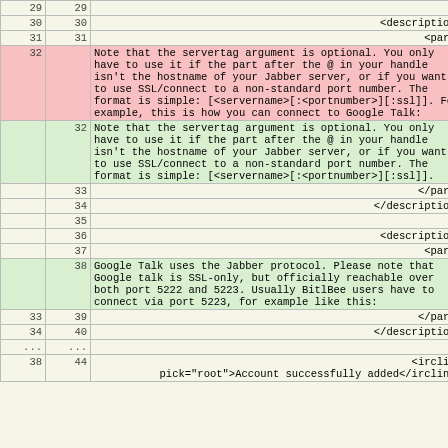|  |  |  |
| --- | --- | --- |
| 29 | 29 |  |
| 30 | 30 | <description> |
| 31 | 31 | <para> |
| 32 |  | Note that the servertag argument is optional. You only have to use it if the part after the @ in your handle isn't the hostname of your Jabber server, or if you want to use SSL/connect to a non-standard port number. The format is simple: [&lt;servername&gt;[:&lt;portnumber&gt;][:ssl]]. For example, this is how you can connect to Google Talk: |
|  | 32 | Note that the servertag argument is optional. You only have to use it if the part after the @ in your handle isn't the hostname of your Jabber server, or if you want to use SSL/connect to a non-standard port number. The format is simple: [&lt;servername&gt;[:&lt;portnumber&gt;][:ssl]]. |
|  | 33 | </para> |
|  | 34 | </description> |
|  | 35 |  |
|  | 36 | <description> |
|  | 37 | <para> |
|  | 38 | Google Talk uses the Jabber protocol. Please note that Google talk is SSL-only, but officially reachable over both port 5222 and 5223. Usually BitlBee users have to connect via port 5223, for example like this: |
| 33 | 39 | </para> |
| 34 | 40 | </description> |
| ... | ... |  |
| 38 | 44 | <ircline pick="root">Account successfully added</ircline> |